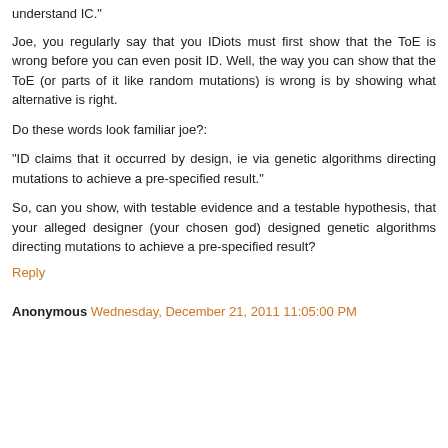understand IC."
Joe, you regularly say that you IDiots must first show that the ToE is wrong before you can even posit ID. Well, the way you can show that the ToE (or parts of it like random mutations) is wrong is by showing what alternative is right.
Do these words look familiar joe?:
"ID claims that it occurred by design, ie via genetic algorithms directing mutations to achieve a pre-specified result."
So, can you show, with testable evidence and a testable hypothesis, that your alleged designer (your chosen god) designed genetic algorithms directing mutations to achieve a pre-specified result?
Reply
Anonymous Wednesday, December 21, 2011 11:05:00 PM